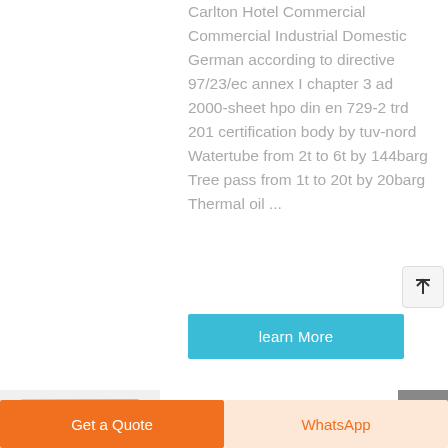Carlton Hotel Commercial Commercial Industrial Domestic German according to directive 97/23/ec annex I chapter 3 ad 2000-sheet hpo din en 729-2 trd 201 certification body by tuv-nord Watertube from 2t to 6t by 144barg Tree pass from 1t to 20t by 20barg Thermal oil ...
[Figure (other): Learn More button - teal/cyan colored rectangular button]
[Figure (other): Scroll to top button with upward arrow icon]
[Figure (photo): Partial product image visible at bottom of page]
[Figure (other): Get a Quote orange button and WhatsApp button at page bottom]